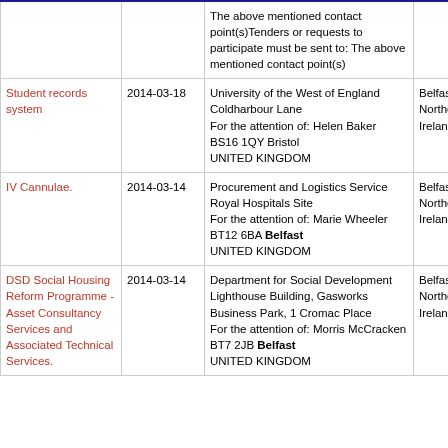| Title | Date | Address | Location |
| --- | --- | --- | --- |
|  |  | The above mentioned contact point(s)Tenders or requests to participate must be sent to: The above mentioned contact point(s) |  |
| Student records system | 2014-03-18 | University of the West of England
Coldharbour Lane
For the attention of: Helen Baker
BS16 1QY Bristol
UNITED KINGDOM | Belfast Northern Ireland |
| IV Cannulae. | 2014-03-14 | Procurement and Logistics Service
Royal Hospitals Site
For the attention of: Marie Wheeler
BT12 6BA Belfast
UNITED KINGDOM | Belfast Northern Ireland |
| DSD Social Housing Reform Programme - Asset Consultancy Services and Associated Technical Services. | 2014-03-14 | Department for Social Development
Lighthouse Building, Gasworks Business Park, 1 Cromac Place
For the attention of: Morris McCracken
BT7 2JB Belfast
UNITED KINGDOM | Belfast Northern Ireland |